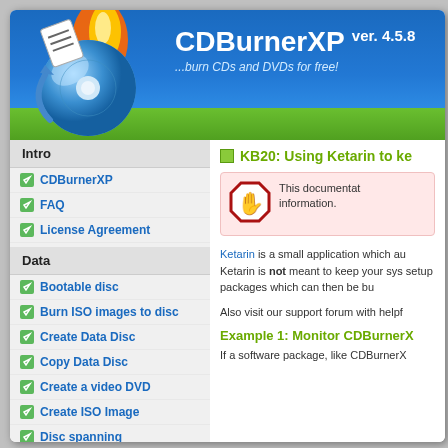[Figure (screenshot): CDBurnerXP application header with CD/DVD logo, app name CDBurnerXP ver. 4.5.8, tagline burn CDs and DVDs for free!]
Intro
CDBurnerXP
FAQ
License Agreement
Data
Bootable disc
Burn ISO images to disc
Create Data Disc
Copy Data Disc
Create a video DVD
Create ISO Image
Disc spanning
Erase a disc
KB20: Using Ketarin to ke
This documentation information.
Ketarin is a small application which au Ketarin is not meant to keep your sys setup packages which can then be bu
Also visit our support forum with helpf
Example 1: Monitor CDBurnerX
If a software package, like CDBurnerX